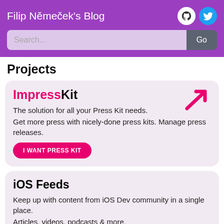Filip Němeček's Blog
Projects
ImpressKit
The solution for all your Press Kit needs. Get more press with nicely-done press kits. Manage press releases.
I WANT PRESS KIT
iOS Feeds
Keep up with content from iOS Dev community in a single place. Articles, videos, podcasts & more.
SEE COMMUNITY NEWS